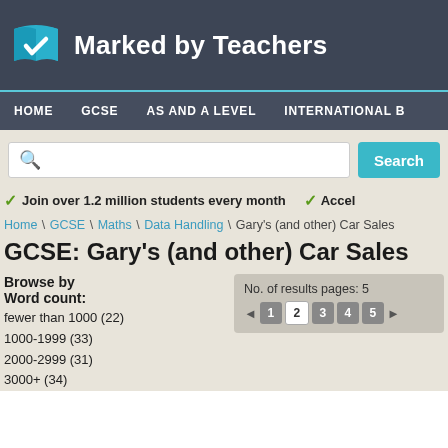Marked by Teachers
HOME  GCSE  AS AND A LEVEL  INTERNATIONAL B
Join over 1.2 million students every month  ✓ Accel
Home \ GCSE \ Maths \ Data Handling \ Gary's (and other) Car Sales
GCSE: Gary's (and other) Car Sales
Browse by
Word count:
fewer than 1000 (22)
1000-1999 (33)
2000-2999 (31)
3000+ (34)
No. of results pages: 5
◄ 1 2 3 4 5 ►